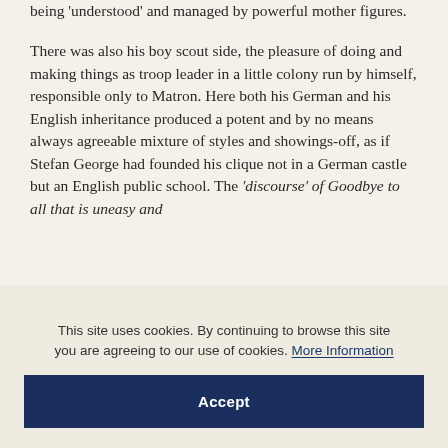being 'understood' and managed by powerful mother figures.
There was also his boy scout side, the pleasure of doing and making things as troop leader in a little colony run by himself, responsible only to Matron. Here both his German and his English inheritance produced a potent and by no means always agreeable mixture of styles and showings-off, as if Stefan George had founded his clique not in a German castle but an English public school. The 'discourse' of Goodbye to all that is uneasy and
This site uses cookies. By continuing to browse this site you are agreeing to our use of cookies. More Information
Accept